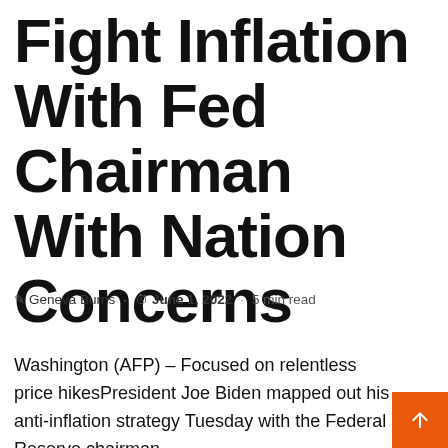Fight Inflation With Fed Chairman With Nation Concerns
✎ Geneva Burns · ⏱ June 1, 2022 · 5 min read
Washington (AFP) – Focused on relentless price hikesPresident Joe Biden mapped out his anti-inflation strategy Tuesday with the Federal Reserve chairman,